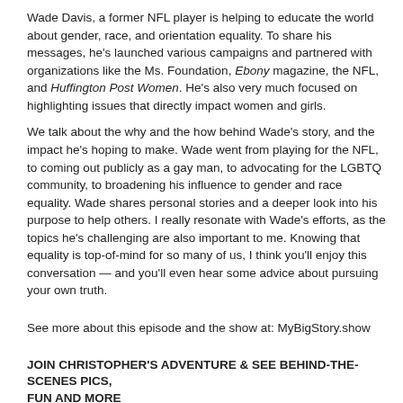Wade Davis, a former NFL player is helping to educate the world about gender, race, and orientation equality. To share his messages, he's launched various campaigns and partnered with organizations like the Ms. Foundation, Ebony magazine, the NFL, and Huffington Post Women. He's also very much focused on highlighting issues that directly impact women and girls.
We talk about the why and the how behind Wade's story, and the impact he's hoping to make. Wade went from playing for the NFL, to coming out publicly as a gay man, to advocating for the LGBTQ community, to broadening his influence to gender and race equality. Wade shares personal stories and a deeper look into his purpose to help others. I really resonate with Wade's efforts, as the topics he's challenging are also important to me. Knowing that equality is top-of-mind for so many of us, I think you'll enjoy this conversation — and you'll even hear some advice about pursuing your own truth.
See more about this episode and the show at: MyBigStory.show
JOIN CHRISTOPHER'S ADVENTURE & SEE BEHIND-THE-SCENES PICS, FUN AND MORE
Instagram
Twitter
Facebook
ChristopherSwan.info